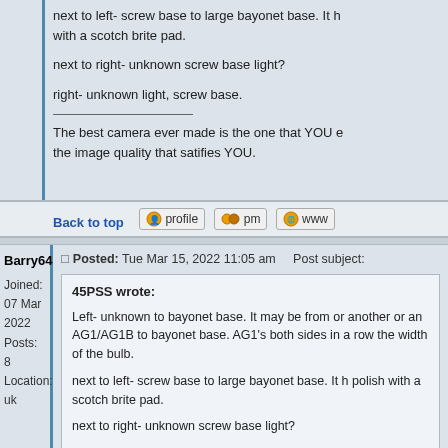next to left- screw base to large bayonet base. It h with a scotch brite pad.

next to right- unknown screw base light?

right- unknown light, screw base.

The best camera ever made is the one that YOU e the image quality that satifies YOU.
Back to top
Barry64
Joined: 07 Mar 2022
Posts: 8
Location: uk
Posted: Tue Mar 15, 2022 11:05 am    Post subject:
45PSS wrote:
Left- unknown to bayonet base. It may be from or another or an AG1/AG1B to bayonet base. AG1's both sides in a row the width of the bulb.

next to left- screw base to large bayonet base. It h polish with a scotch brite pad.

next to right- unknown screw base light?

right- unknown light, screw base.